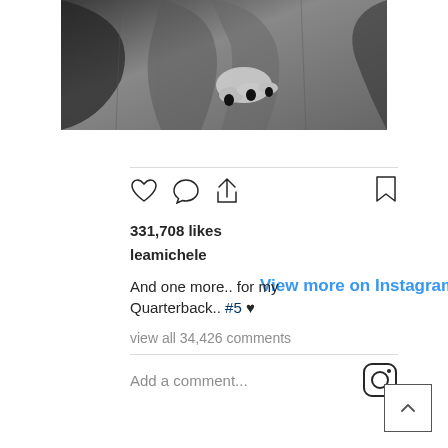[Figure (photo): Black and white photo of a hand with dark nail polish gripping a dark leather jacket, cropped view]
View more on Instagram
331,708 likes
leamichele
And one more.. for my Quarterback.. #5 ♥
view all 34,426 comments
Add a comment...